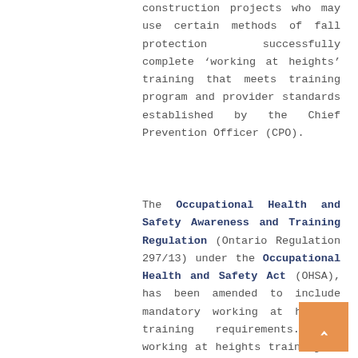construction projects who may use certain methods of fall protection successfully complete ‘working at heights’ training that meets training program and provider standards established by the Chief Prevention Officer (CPO).
The Occupational Health and Safety Awareness and Training Regulation (Ontario Regulation 297/13) under the Occupational Health and Safety Act (OHSA), has been amended to include mandatory working at heights training requirements. The working at heights training is valid for three years from the date the worker completes an approved training